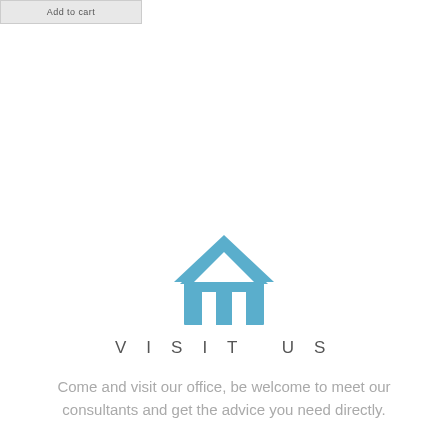[Figure (illustration): Blue house icon with roof shape and two columns at the base]
VISIT US
Come and visit our office, be welcome to meet our consultants and get the advice you need directly.